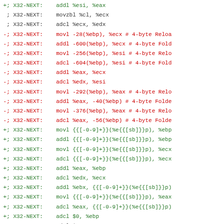Assembly diff output showing X32-NEXT lines with green (+) additions and red (-) removals of x86 assembly instructions